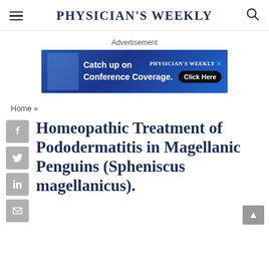Physician's Weekly
Advertisement
[Figure (screenshot): Physician's Weekly advertisement banner: 'Catch up on Conference Coverage. Click Here']
Home »
Homeopathic Treatment of Pododermatitis in Magellanic Penguins (Spheniscus magellanicus).